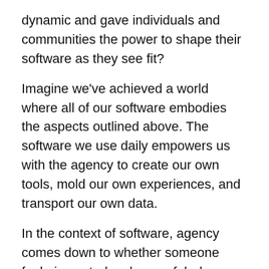dynamic and gave individuals and communities the power to shape their software as they see fit?
Imagine we've achieved a world where all of our software embodies the aspects outlined above. The software we use daily empowers us with the agency to create our own tools, mold our own experiences, and transport our own data.
In the context of software, agency comes down to whether someone feels in control and powerful when they're using a piece of software, rather than coerced and scared. It's the difference between wanting to continue exploring rather than dreading continued use.
Agency shifts the balance of power—from corporations and startups to everyday communities and neighbors. In the ideal world, individuals would not only have the